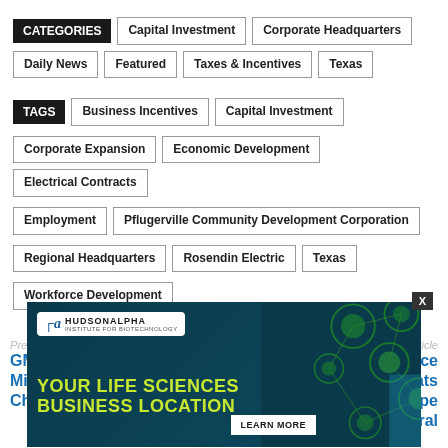CATEGORIES | Capital Investment | Corporate Headquarters | Daily News | Featured | Taxes & Incentives | Texas
TAGS | Business Incentives | Capital Investment | Corporate Expansion | Economic Development | Electrical Contracts | Employment | Pflugerville Community Development Corporation | Regional Headquarters | Rosendin Electric | Texas | Workforce Development
Previous article
Next article
GM Investing $300M In Michigan Plant For New Chevrolet EV
Nor-Tech Hi-Performance Boats Opens New HQ In Cape Coral
[Figure (photo): HudsonAlpha Institute for Biotechnology advertisement: 'Your Life Sciences Business Location' with Learn More button]